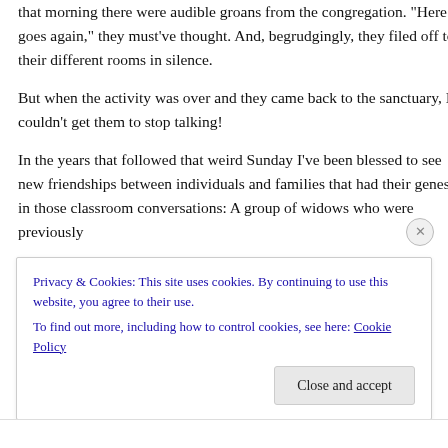that morning there were audible groans from the congregation. “Here he goes again,” they must’ve thought. And, begrudgingly, they filed off to their different rooms in silence.
But when the activity was over and they came back to the sanctuary, I couldn’t get them to stop talking!
In the years that followed that weird Sunday I’ve been blessed to see new friendships between individuals and families that had their genesis in those classroom conversations: A group of widows who were previously
Privacy & Cookies: This site uses cookies. By continuing to use this website, you agree to their use.
To find out more, including how to control cookies, see here: Cookie Policy
Close and accept